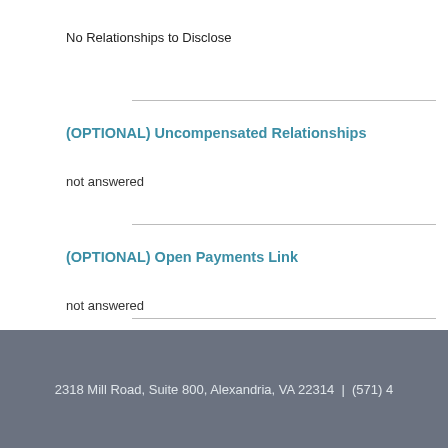No Relationships to Disclose
(OPTIONAL) Uncompensated Relationships
not answered
(OPTIONAL) Open Payments Link
not answered
2318 Mill Road, Suite 800, Alexandria, VA 22314  |  (571) 4